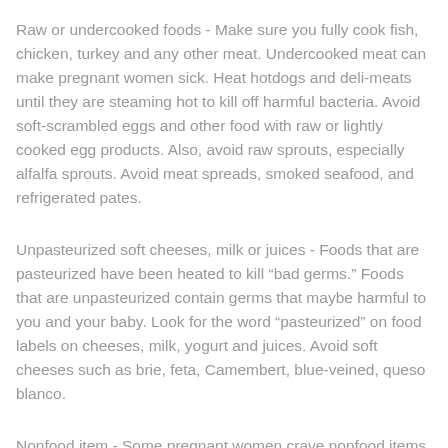Raw or undercooked foods - Make sure you fully cook fish, chicken, turkey and any other meat. Undercooked meat can make pregnant women sick. Heat hotdogs and deli-meats until they are steaming hot to kill off harmful bacteria. Avoid soft-scrambled eggs and other food with raw or lightly cooked egg products. Also, avoid raw sprouts, especially alfalfa sprouts. Avoid meat spreads, smoked seafood, and refrigerated pates.
Unpasteurized soft cheeses, milk or juices - Foods that are pasteurized have been heated to kill “bad germs.” Foods that are unpasteurized contain germs that maybe harmful to you and your baby. Look for the word “pasteurized” on food labels on cheeses, milk, yogurt and juices. Avoid soft cheeses such as brie, feta, Camembert, blue-veined, queso blanco.
Nonfood item - Some pregnant women crave nonfood items that are harmful to themselves and the baby. Cravings may include: clay, ice, dirt, chalk, coffee grounds, charcoal, etc. If you are